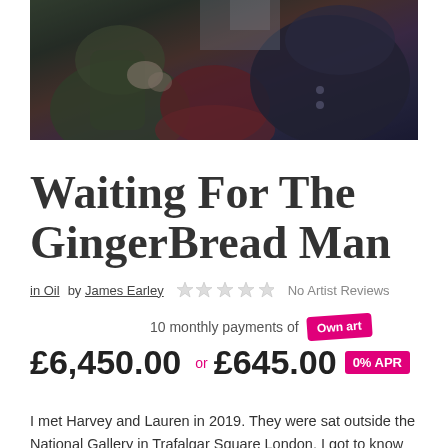[Figure (photo): Dark photographic image showing people wearing winter coats, partially visible, dark muted tones]
Waiting For The GingerBread Man
in Oil by James Earley  ☆☆☆☆☆ No Artist Reviews
10 monthly payments of [Own art badge] £6,450.00 or £645.00 0% APR
I met Harvey and Lauren in 2019. They were sat outside the National Gallery in Trafalgar Square London. I got to know them both and learnt their story as to how they had ended up